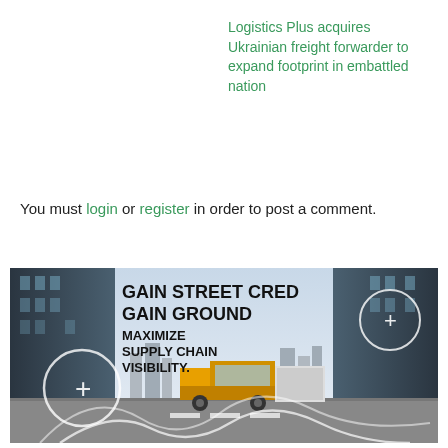Logistics Plus acquires Ukrainian freight forwarder to expand footprint in embattled nation
You must login or register in order to post a comment.
[Figure (illustration): Advertisement banner showing a truck on a city street with text: GAIN STREET CRED GAIN GROUND MAXIMIZE SUPPLY CHAIN VISIBILITY.]